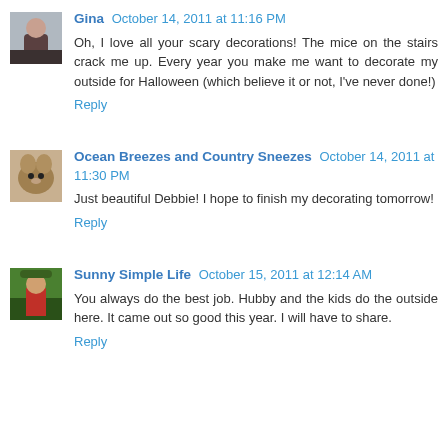[Figure (photo): Avatar photo of Gina, a woman with dark hair]
Gina October 14, 2011 at 11:16 PM
Oh, I love all your scary decorations! The mice on the stairs crack me up. Every year you make me want to decorate my outside for Halloween (which believe it or not, I've never done!)
Reply
[Figure (photo): Avatar photo of Ocean Breezes and Country Sneezes, a small rodent/hamster]
Ocean Breezes and Country Sneezes October 14, 2011 at 11:30 PM
Just beautiful Debbie! I hope to finish my decorating tomorrow!
Reply
[Figure (photo): Avatar photo of Sunny Simple Life, a person in a garden]
Sunny Simple Life October 15, 2011 at 12:14 AM
You always do the best job. Hubby and the kids do the outside here. It came out so good this year. I will have to share.
Reply